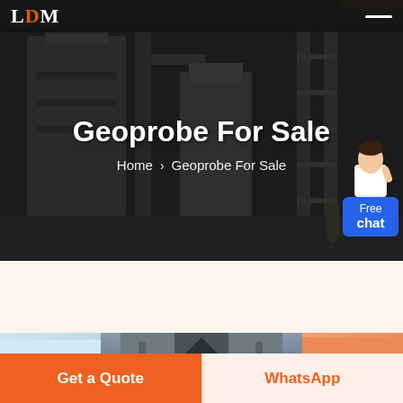LDM
Geoprobe For Sale
Home > Geoprobe For Sale
[Figure (photo): Industrial factory interior with large equipment, pipes, scaffolding, and workers — dark overlay hero image]
[Figure (illustration): Customer support avatar (woman in white) with blue Free chat button]
[Figure (photo): Product image strip showing equipment (geoprobe-related machinery) partially visible]
Get a Quote
WhatsApp